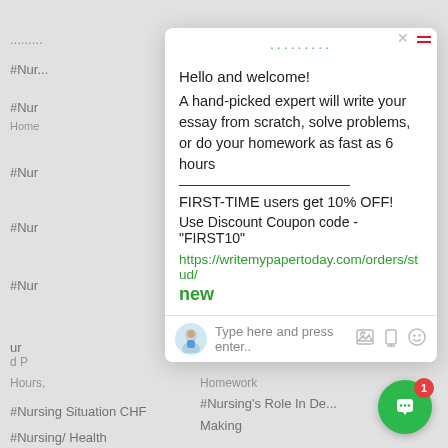#Nursing Situation CHF
#Nursing's Role In Decision Making
#Nursing/ Health
Hello and welcome!
A hand-picked expert will write your essay from scratch, solve problems, or do your homework as fast as 6 hours
FIRST-TIME users get 10% OFF!
Use Discount Coupon code - "FIRST10"
https://writemypapertoday.com/orders/stud/new
Type here and press enter..